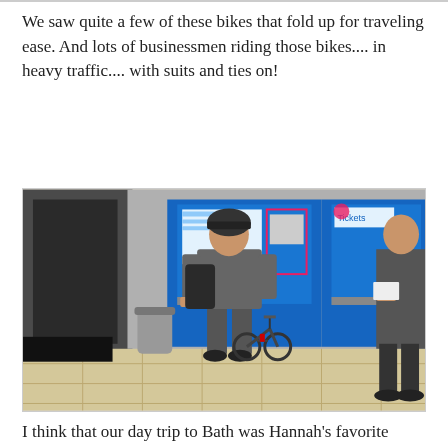We saw quite a few of these bikes that fold up for traveling ease. And lots of businessmen riding those bikes.... in heavy traffic.... with suits and ties on!
[Figure (photo): A businessman in a suit wearing a bicycle helmet stands at a ticket machine, with a folded bicycle at his feet. Another man in a suit stands to the right at another ticket machine.]
I think that our day trip to Bath was Hannah's favorite place we visited. Not only were we able to tour the Roman baths, but also Bath was home to Jane Austin for 6 years...